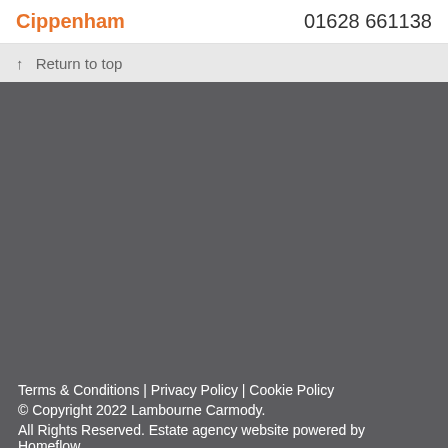Cippenham  01628 661138
↑ Return to top
Terms & Conditions | Privacy Policy | Cookie Policy
© Copyright 2022 Lambourne Carmody.
All Rights Reserved. Estate agency website powered by Homeflow